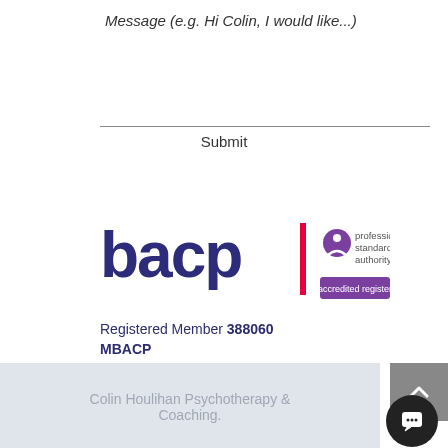Message (e.g. Hi Colin, I would like...)
Submit
[Figure (logo): BACP logo with Professional Standards Authority accredited register badge]
Registered Member 388060 MBACP
Colin Houlihan Psychotherapy & Coaching.